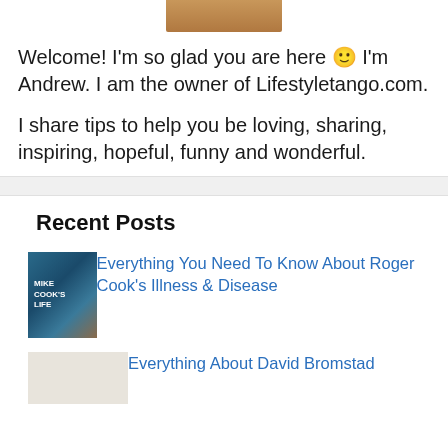[Figure (photo): Partial profile photo of Andrew, cropped at top of page]
Welcome! I'm so glad you are here 🙂 I'm Andrew. I am the owner of Lifestyletango.com.
I share tips to help you be loving, sharing, inspiring, hopeful, funny and wonderful.
Recent Posts
[Figure (photo): Thumbnail image for Roger Cook article showing a person with sunglasses, teal background, with text 'COOK'S' visible]
Everything You Need To Know About Roger Cook's Illness & Disease
[Figure (photo): Partial thumbnail image for David Bromstad article, light colored background]
Everything About David Bromstad